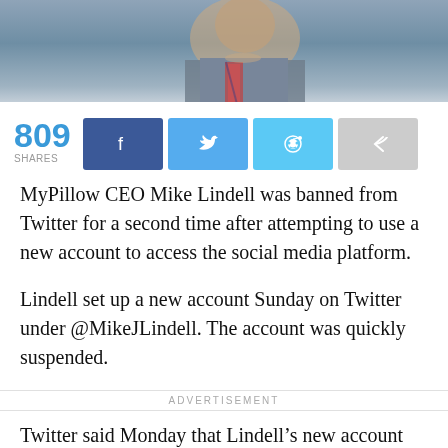[Figure (photo): Photo of a man in a suit with a tie and cross pin, cropped to show neck and chest area, blurred background]
809 SHARES
[Figure (infographic): Social share buttons: Facebook, Twitter, Reddit, Share]
MyPillow CEO Mike Lindell was banned from Twitter for a second time after attempting to use a new account to access the social media platform.
Lindell set up a new account Sunday on Twitter under @MikeJLindell. The account was quickly suspended.
ADVERTISEMENT
Twitter said Monday that Lindell’s new account was permanently suspended for violating its rules on ban evasion.